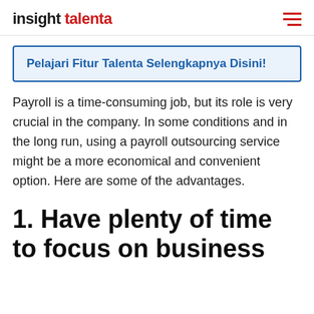insight talenta
Pelajari Fitur Talenta Selengkapnya Disini!
Payroll is a time-consuming job, but its role is very crucial in the company. In some conditions and in the long run, using a payroll outsourcing service might be a more economical and convenient option. Here are some of the advantages.
1. Have plenty of time to focus on business